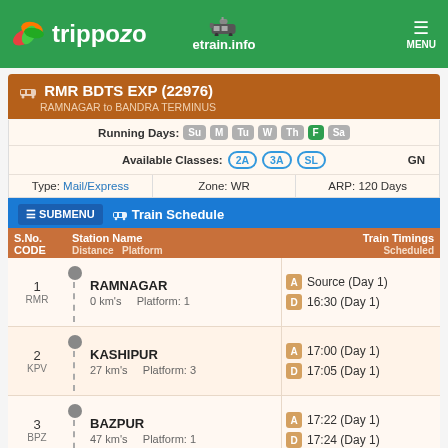trippoz0 etrain.info MENU
RMR BDTS EXP (22976) — RAMNAGAR to BANDRA TERMINUS
Running Days: Su M Tu W Th F Sa (F highlighted)
Available Classes: 2A 3A SL  GN
Type: Mail/Express   Zone: WR   ARP: 120 Days
≡ SUBMENU  🚂 Train Schedule
| S.No. CODE | Station Name / Distance / Platform | Train Timings Scheduled |
| --- | --- | --- |
| 1
RMR | RAMNAGAR
0 km's   Platform: 1 | A Source (Day 1)
D 16:30 (Day 1) |
| 2
KPV | KASHIPUR
27 km's   Platform: 3 | A 17:00 (Day 1)
D 17:05 (Day 1) |
| 3
BPZ | BAZPUR
47 km's   Platform: 1 | A 17:22 (Day 1)
D 17:24 (Day 1) |
| 4
LKU | LAL KUAN
85 km's   Platform: ? | A 18:38 (Day 1) |